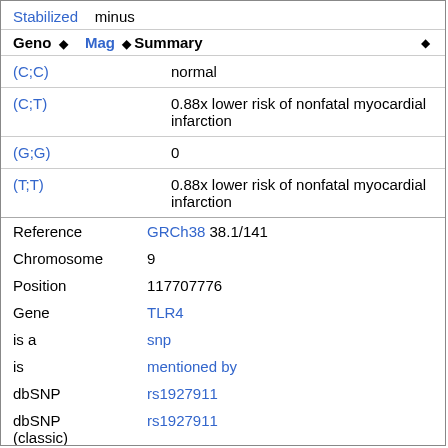Stabilized   minus
| Geno | Mag | Summary |
| --- | --- | --- |
| (C;C) |  | normal |
| (C;T) |  | 0.88x lower risk of nonfatal myocardial infarction |
| (G;G) |  | 0 |
| (T;T) |  | 0.88x lower risk of nonfatal myocardial infarction |
Reference   GRCh38 38.1/141
Chromosome 9
Position   117707776
Gene   TLR4
is a   snp
is   mentioned by
dbSNP   rs1927911
dbSNP (classic)   rs1927911